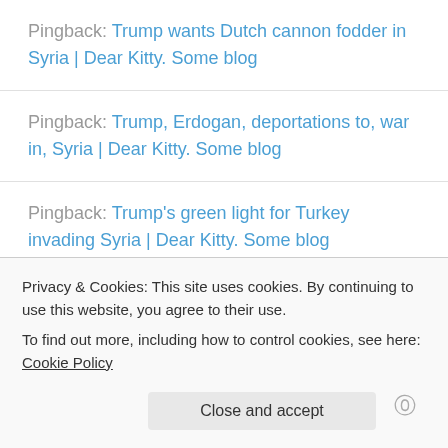Pingback: Trump wants Dutch cannon fodder in Syria | Dear Kitty. Some blog
Pingback: Trump, Erdogan, deportations to, war in, Syria | Dear Kitty. Some blog
Pingback: Trump's green light for Turkey invading Syria | Dear Kitty. Some blog
Pingback: Erdogan attacks Syrian Kurds, Trump OKs |
Privacy & Cookies: This site uses cookies. By continuing to use this website, you agree to their use. To find out more, including how to control cookies, see here: Cookie Policy
Close and accept